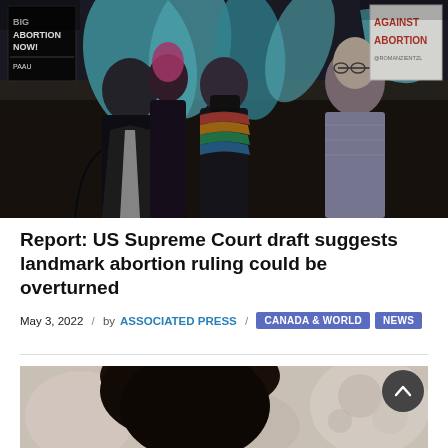[Figure (photo): Protest scene at night showing people holding signs including 'BIG ABORTION NOW!' with PAAU logo and 'AGAINST ABORTION' sign, and people carrying teal/blue banners]
Report: US Supreme Court draft suggests landmark abortion ruling could be overturned
May 3, 2022 / by ASSOCIATED PRESS / CANADA & WORLD NEWS
[Figure (photo): Close-up photo of a person with dark hair, bokeh background]